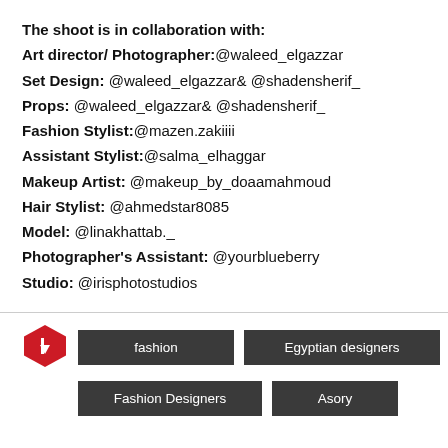The shoot is in collaboration with:
Art director/ Photographer:@waleed_elgazzar
Set Design: @waleed_elgazzar& @shadensherif_
Props: @waleed_elgazzar& @shadensherif_
Fashion Stylist:@mazen.zakiiii
Assistant Stylist:@salma_elhaggar
Makeup Artist: @makeup_by_doaamahmoud
Hair Stylist: @ahmedstar8085
Model: @linakhattab._
Photographer's Assistant: @yourblueberry
Studio: @irisphotostudios
[Figure (logo): Red diamond/tag shape logo icon]
fashion
Egyptian designers
Fashion Designers
Asory